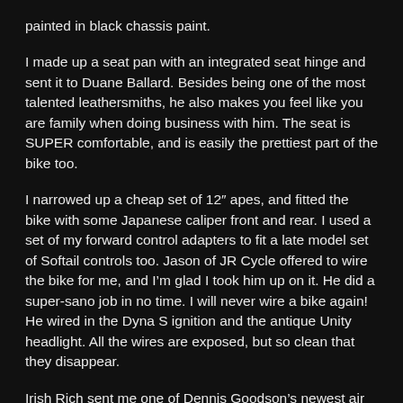painted in black chassis paint.
I made up a seat pan with an integrated seat hinge and sent it to Duane Ballard. Besides being one of the most talented leathersmiths, he also makes you feel like you are family when doing business with him. The seat is SUPER comfortable, and is easily the prettiest part of the bike too.
I narrowed up a cheap set of 12″ apes, and fitted the bike with some Japanese caliper front and rear. I used a set of my forward control adapters to fit a late model set of Softail controls too. Jason of JR Cycle offered to wire the bike for me, and I’m glad I took him up on it. He did a super-sano job in no time. I will never wire a bike again! He wired in the Dyna S ignition and the antique Unity headlight. All the wires are exposed, but so clean that they disappear.
Irish Rich sent me one of Dennis Goodson’s newest air cleaners, and it looks perfect for the bike.
I fired it up 2 days before we left for Daytona. It seemed to run good, and I was confident that the bike would carry us around in Florida without any trouble. Aside from a minor clutch problem (because I pre-